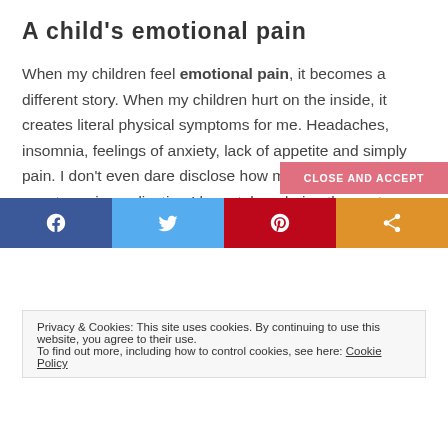A child's emotional pain
When my children feel emotional pain, it becomes a different story. When my children hurt on the inside, it creates literal physical symptoms for me. Headaches, insomnia, feelings of anxiety, lack of appetite and simply pain. I don't even dare disclose how much over-the-counter pain medication I have taken during the past year – not even to myself.
Privacy & Cookies: This site uses cookies. By continuing to use this website, you agree to their use.
To find out more, including how to control cookies, see here: Cookie Policy
f  [Twitter bird]  p  [share icon]